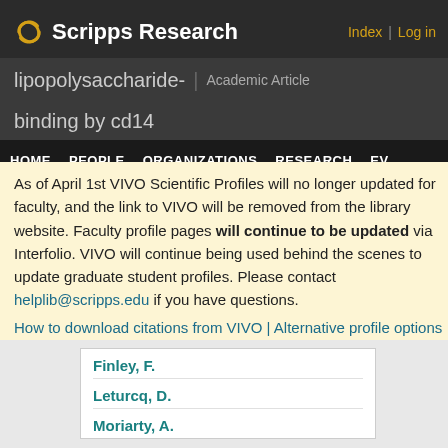Scripps Research — Index | Log in
lipopolysaccharide-binding by cd14 | Academic Article
HOME  PEOPLE  ORGANIZATIONS  RESEARCH  EV
As of April 1st VIVO Scientific Profiles will no longer updated for faculty, and the link to VIVO will be removed from the library website. Faculty profile pages will continue to be updated via Interfolio. VIVO will continue being used behind the scenes to update graduate student profiles. Please contact helplib@scripps.edu if you have questions.
How to download citations from VIVO | Alternative profile options
Finley, F.
Leturcq, D.
Moriarty, A.